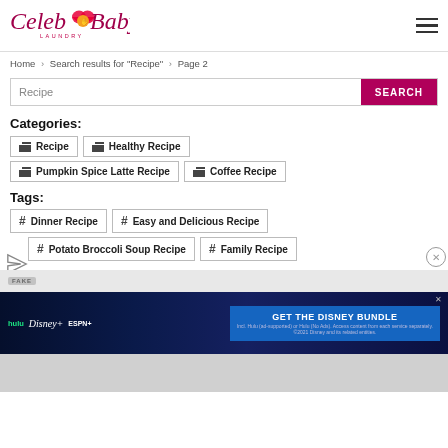[Figure (logo): Celeb Baby Laundry logo with heart and hand icon]
Home > Search results for "Recipe" > Page 2
Recipe
Categories:
Recipe
Healthy Recipe
Pumpkin Spice Latte Recipe
Coffee Recipe
Tags:
# Dinner Recipe
# Easy and Delicious Recipe
# Potato Broccoli Soup Recipe
# Family Recipe
[Figure (screenshot): Disney Bundle advertisement banner showing Hulu, Disney+, ESPN+ logos with GET THE DISNEY BUNDLE call to action]